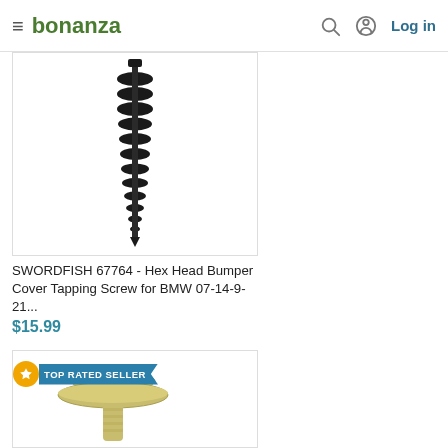bonanza | Log in
[Figure (photo): Black hex head tapping screw, close-up on white background]
SWORDFISH 67764 - Hex Head Bumper Cover Tapping Screw for BMW 07-14-9-21...
$15.99
[Figure (photo): Yellow/cream plastic push-in clip rivet fastener with TOP RATED SELLER badge]